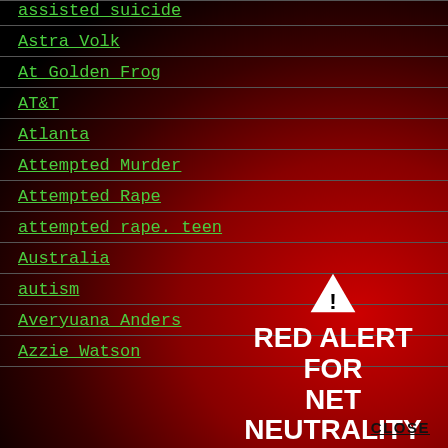assisted suicide
Astra Volk
At Golden Frog
AT&T
Atlanta
Attempted Murder
Attempted Rape
attempted rape. teen
Australia
autism
Averyuana Anders
Azzie Watson
[Figure (infographic): Red Alert for Net Neutrality overlay with warning triangle icon, bold white text reading 'RED ALERT FOR NET NEUTRALITY', a black 'TAKE ACTION' button, and a 'CLOSE' link in the bottom right corner. Background fades from black to bright red.]
CLOSE